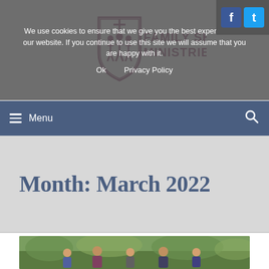[Figure (logo): Family Shield Ministries logo with shield icon and text]
We use cookies to ensure that we give you the best experience on our website. If you continue to use this site we will assume that you are happy with it.
Ok   Privacy Policy
Month: March 2022
[Figure (photo): Group of people (family) standing outdoors with green foliage background]